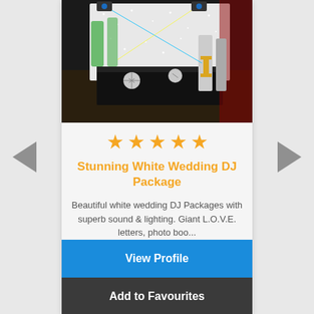[Figure (photo): DJ setup with white LED backdrop, disco mirror balls, colorful stage lighting in red and blue, on a patterned carpet]
[Figure (other): Five orange star rating icons indicating 5-star rating]
Stunning White Wedding DJ Package
Beautiful white wedding DJ Packages with superb sound & lighting. Giant L.O.V.E. letters, photo boo...
View Profile
Add to Favourites